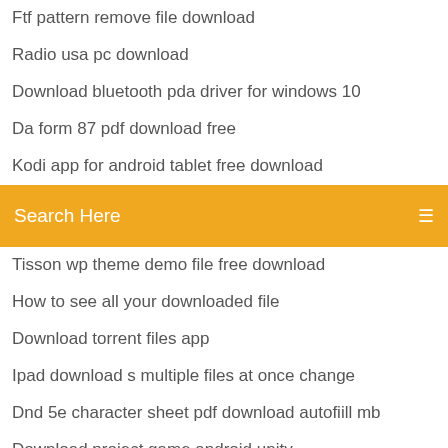Ftf pattern remove file download
Radio usa pc download
Download bluetooth pda driver for windows 10
Da form 87 pdf download free
Kodi app for android tablet free download
Android pie download for j7 prime
Search Here
Tisson wp theme demo file free download
How to see all your downloaded file
Download torrent files app
Ipad download s multiple files at once change
Dnd 5e character sheet pdf download autofiill mb
Download project game android unity
Draw and paint app download
Appnana hack app download
Ipad download s multiple files at once change
Fortnite battle royale pc stuck on download